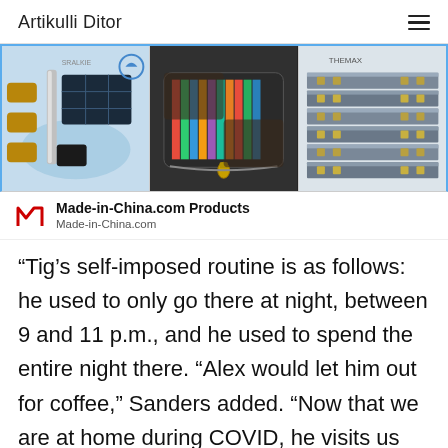Artikulli Ditor
[Figure (photo): Advertisement banner showing three product images: a solar-powered submersible pump kit, a colorful card wallet/accordion wallet, and industrial steel rails/profiles. Made-in-China.com Products ad.]
Made-in-China.com Products
Made-in-China.com
“Tig’s self-imposed routine is as follows: he used to only go there at night, between 9 and 11 p.m., and he used to spend the entire night there. “Alex would let him out for coffee,” Sanders added. “Now that we are at home during COVID, he visits us between the hours of